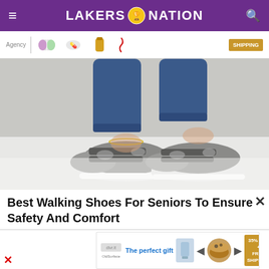LAKERS 🏆 NATION
[Figure (photo): Advertisement strip showing logos, product images (pills/capsules, golden bottle), and a gold 'SHIPPING' badge on white background]
[Figure (photo): Close-up photo of a woman's feet wearing gray velcro-strap walking sneakers/sandals with white soles, paired with blue jeans and a gold anklet, on a white fur rug and light tile floor.]
Best Walking Shoes For Seniors To Ensure Safety And Comfort
[Figure (photo): Bottom advertisement: 'The perfect gift' with product images of a glass and a bowl of food, navigation arrows, and a gold '35% OFF + FREE SHIPPING' badge]